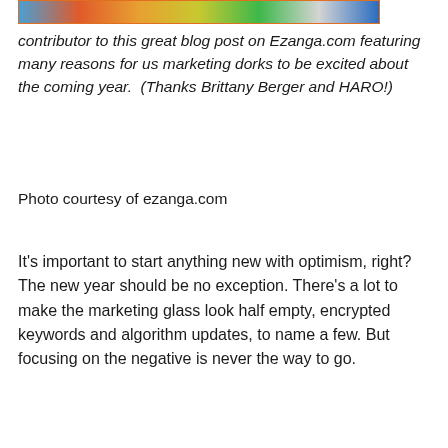[Figure (photo): Colorful image strip showing people or objects in orange, blue, yellow and other colors at the top of the page]
contributor to this great blog post on Ezanga.com featuring many reasons for us marketing dorks to be excited about the coming year. (Thanks Brittany Berger and HARO!)
Photo courtesy of ezanga.com
It's important to start anything new with optimism, right? The new year should be no exception. There's a lot to make the marketing glass look half empty, encrypted keywords and algorithm updates, to name a few. But focusing on the negative is never the way to go.